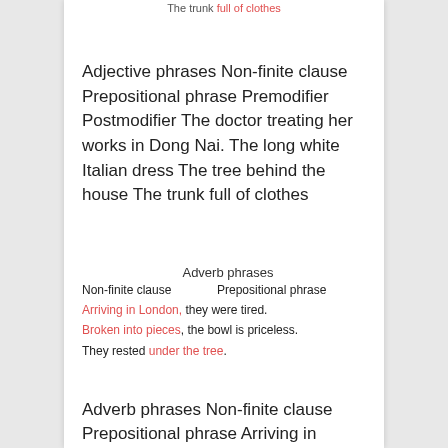The trunk full of clothes
Adjective phrases Non-finite clause Prepositional phrase Premodifier Postmodifier The doctor treating her works in Dong Nai. The long white Italian dress The tree behind the house The trunk full of clothes
| Adverb phrases |  |
| --- | --- |
| Non-finite clause | Prepositional phrase |
| Arriving in London, they were tired. |  |
| Broken into pieces, the bowl is priceless. |  |
| They rested under the tree. |  |
Adverb phrases Non-finite clause Prepositional phrase Arriving in London, th